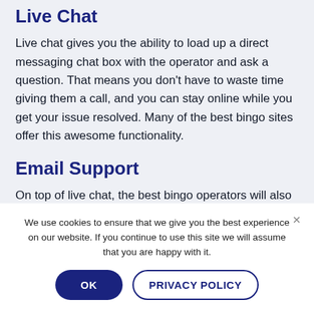Live Chat
Live chat gives you the ability to load up a direct messaging chat box with the operator and ask a question. That means you don't have to waste time giving them a call, and you can stay online while you get your issue resolved. Many of the best bingo sites offer this awesome functionality.
Email Support
On top of live chat, the best bingo operators will also offer email support. This means of contact allows you to send them an email outlining your concern. This is a great
We use cookies to ensure that we give you the best experience on our website. If you continue to use this site we will assume that you are happy with it.